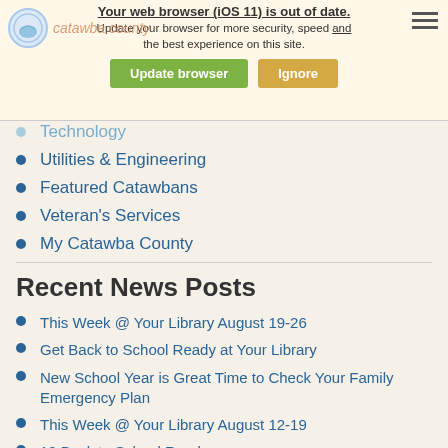[Figure (screenshot): Browser out-of-date warning banner with 'Update browser' (green) and 'Ignore' (yellow) buttons, overlaid on Catawba County website header with logo and hamburger menu]
Technology
Utilities & Engineering
Featured Catawbans
Veteran's Services
My Catawba County
Recent News Posts
This Week @ Your Library August 19-26
Get Back to School Ready at Your Library
New School Year is Great Time to Check Your Family Emergency Plan
This Week @ Your Library August 12-19
10 Back to School Reads
This Week @ Your Library August 5-12